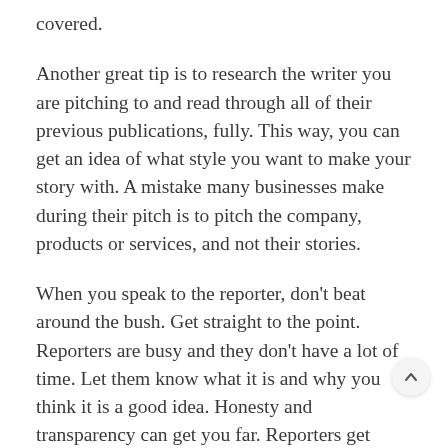covered.
Another great tip is to research the writer you are pitching to and read through all of their previous publications, fully. This way, you can get an idea of what style you want to make your story with. A mistake many businesses make during their pitch is to pitch the company, products or services, and not their stories.
When you speak to the reporter, don't beat around the bush. Get straight to the point. Reporters are busy and they don't have a lot of time. Let them know what it is and why you think it is a good idea. Honesty and transparency can get you far. Reporters get many pitches throughout the week so, if they don't get back to you right away. try not bugging them by dialing their number over and over or sending more and more